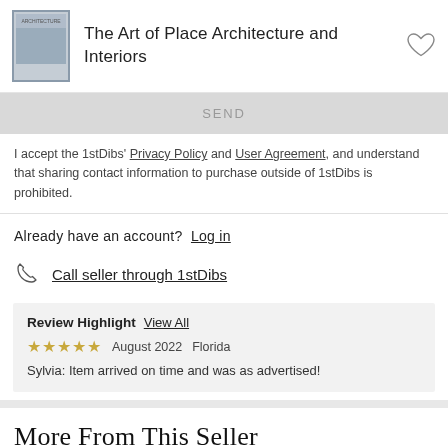The Art of Place Architecture and Interiors
SEND
I accept the 1stDibs' Privacy Policy and User Agreement, and understand that sharing contact information to purchase outside of 1stDibs is prohibited.
Already have an account?  Log in
Call seller through 1stDibs
Review Highlight  View All
★★★★★  August 2022   Florida
Sylvia: Item arrived on time and was as advertised!
More From This Seller
View All